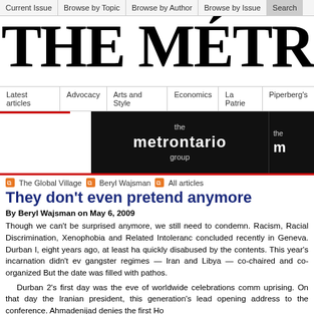Current Issue | Browse by Topic | Browse by Author | Browse by Issue | Search
THE MÉTROP
Latest articles | Advocacy | Arts and Style | Economics | La Patrie | Piperberg's
[Figure (logo): The metrontario group advertisement banner on black background]
The Global Village   Beryl Wajsman   All articles
They don't even pretend anymore
By Beryl Wajsman on May 6, 2009
Though we can't be surprised anymore, we still need to condemn. Racism, Racial Discrimination, Xenophobia and Related Intolerance concluded recently in Geneva. Durban I, eight years ago, at least ha quickly disabused by the contents. This year's incarnation didn't ev gangster regimes — Iran and Libya — co-chaired and co-organized But the date was filled with pathos.
Durban 2's first day was the eve of worldwide celebrations comm uprising. On that day the Iranian president, this generation's lead opening address to the conference. Ahmadenijad denies the first Ho